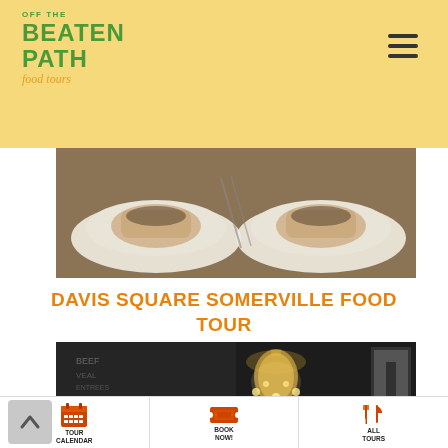[Figure (logo): Off the Beaten Path Food Tours logo in green and orange on yellow background]
[Figure (photo): Two white plates with food items (appears to be some kind of stuffed/topped dish) on a wooden table]
DAVIS SQUARE SOMERVILLE FOOD TOUR
[Figure (photo): Interior of a restaurant with a chandelier and chalkboard menu on the wall]
[Figure (infographic): Three icon buttons: Tour Calendar (calendar icon), Book Now! (ticket icon), All Tours (cutlery icon)]